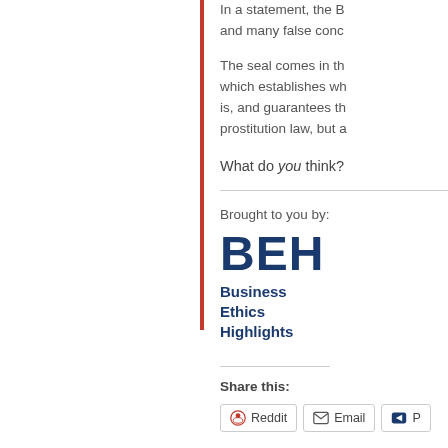In a statement, the B... and many false conc...
The seal comes in th... which establishes wh... is, and guarantees th... prostitution law, but a...
What do you think?
Brought to you by:
[Figure (logo): BEH Business Ethics Highlights logo]
Share this:
Reddit  Email  P...